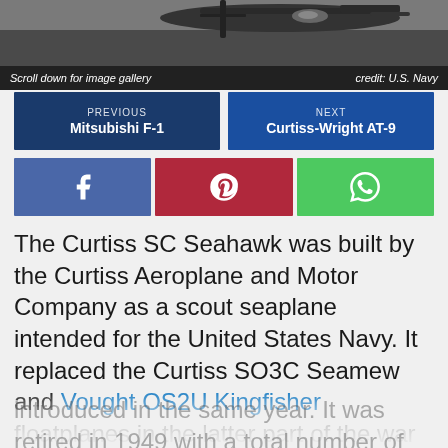[Figure (photo): Black and white photograph of a Curtiss SC Seahawk aircraft, partially visible at the top of the page]
Scroll down for image gallery    credit: U.S. Navy
PREVIOUS Mitsubishi F-1
NEXT Curtiss-Wright AT-9
The Curtiss SC Seahawk was built by the Curtiss Aeroplane and Motor Company as a scout seaplane intended for the United States Navy. It replaced the Curtiss SO3C Seamew and Vought OS2U Kingfisher floatplanes in the latter part of the war towards peacetime. The aircraft first flew in February 1944 and was introduced in the same year. It was retired in 1949 with a total number of 577 Seahawks.